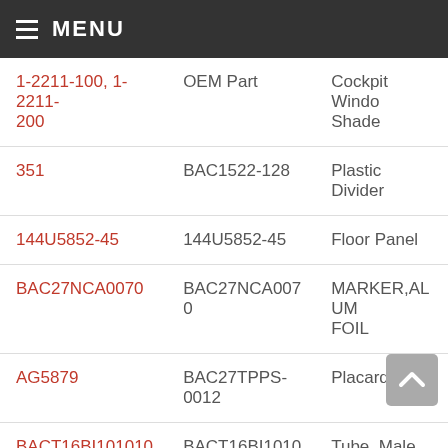MENU
| Part Number | OEM/Reference | Description |
| --- | --- | --- |
| 1-2211-100, 1-2211-200 | OEM Part | Cockpit Window Shade |
| 351 | BAC1522-128 | Plastic Divider |
| 144U5852-45 | 144U5852-45 | Floor Panel |
| BAC27NCA0070 | BAC27NCA0070 | MARKER,ALUM FOIL |
| AG5879 | BAC27TPPS-0012 | Placard |
| BACT16BI101010T | BACT16BI101010T | Tee, Flareless / Tube, Male |